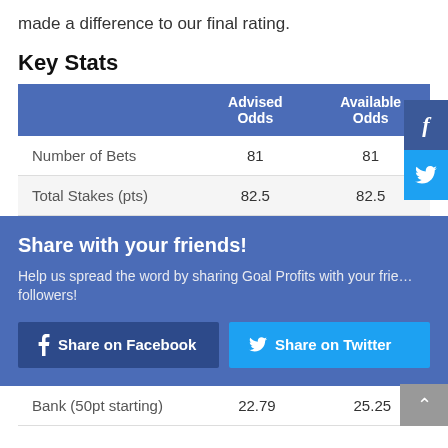made a difference to our final rating.
Key Stats
|  | Advised Odds | Available Odds |
| --- | --- | --- |
| Number of Bets | 81 | 81 |
| Total Stakes (pts) | 82.5 | 82.5 |
| Bank (50pt starting) | 22.79 | 25.25 |
Share with your friends!
Help us spread the word by sharing Goal Profits with your friends and followers!